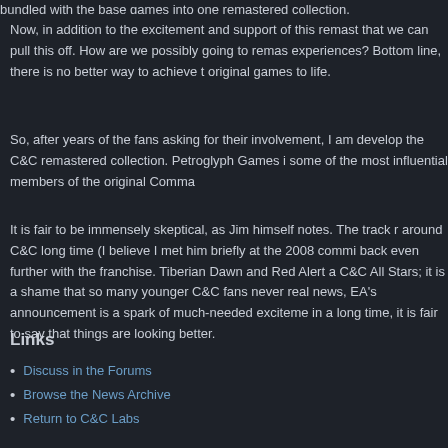bundled with the base games into one remastered collection.
Now, in addition to the excitement and support of this remaster, that we can pull this off. How are we possibly going to remaster experiences? Bottom line, there is no better way to achieve the original games to life.
So, after years of the fans asking for their involvement, I am develop the C&C remastered collection. Petroglyph Games is some of the most influential members of the original Command.
It is fair to be immensely skeptical, as Jim himself notes. The track around C&C long time (I believe I met him briefly at the 2008 back even further with the franchise. Tiberian Dawn and Red Alert C&C All Stars; it is a shame that so many younger C&C fans real news, EA's announcement is a spark of much-needed excitement in a long time, it is fair to say that things are looking better.
Links
Discuss in the Forums
Browse the News Archive
Return to C&C Labs